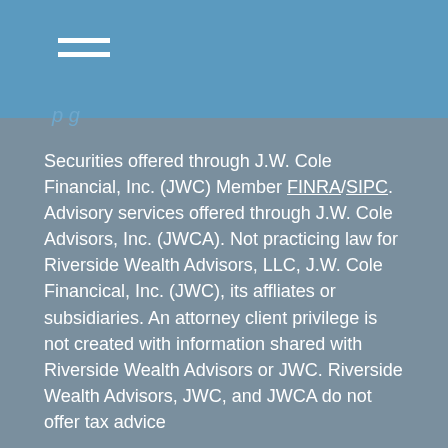p g
Securities offered through J.W. Cole Financial, Inc. (JWC) Member FINRA/SIPC. Advisory services offered through J.W. Cole Advisors, Inc. (JWCA). Not practicing law for Riverside Wealth Advisors, LLC, J.W. Cole Financical, Inc. (JWC), its affliates or subsidiaries. An attorney client privilege is not created with information shared with Riverside Wealth Advisors or JWC. Riverside Wealth Advisors, JWC, and JWCA do not offer tax advice
Riverside Wealth Advisors, LLC and J.W. Cole are unaffliated entities.
J.W. Cole Financial Representatives do not accept orders and /or instructions regarding your account by e-mail, voice mail, fax or any alternative method. Privileged/